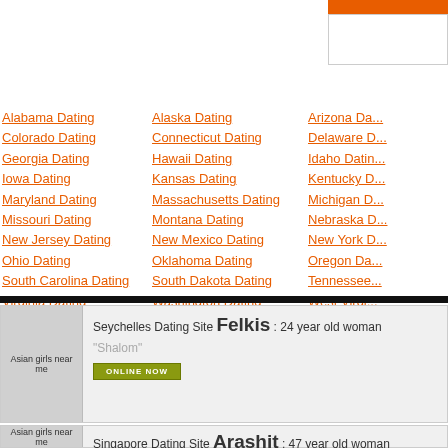[Figure (other): Header area with orange bar and white box in top right corner]
Alabama Dating
Colorado Dating
Georgia Dating
Iowa Dating
Maryland Dating
Missouri Dating
New Jersey Dating
Ohio Dating
South Carolina Dating
Virginia Dating
Vermont Dating
Alaska Dating
Connecticut Dating
Hawaii Dating
Kansas Dating
Massachusetts Dating
Montana Dating
New Mexico Dating
Oklahoma Dating
South Dakota Dating
Washington Dating
Arizona Da...
Delaware D...
Idaho Datin...
Kentucky D...
Michigan D...
Nebraska D...
New York D...
Oregon Da...
Tennessee...
West Virgi...
Seychelles Dating Site Felkis : 24 year old woman
"Shalom"
ONLINE NOW
Singapore Dating Site Arashit : 47 year old woman